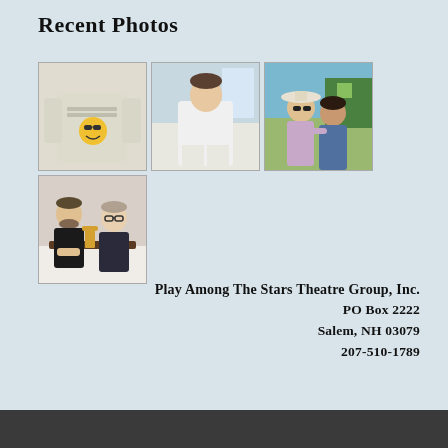Recent Photos
[Figure (photo): Grid of 4 photos: top-left shows a person wearing a t-shirt with a smiley face and text reading 'HOLIDAY FOR SUMMER CAMP'; top-middle shows a person in a white outfit standing indoors; top-right shows two women smiling outdoors; bottom-left shows two men sitting together indoors.]
Play Among The Stars Theatre Group, Inc.
PO Box 2222
Salem, NH 03079
207-510-1789